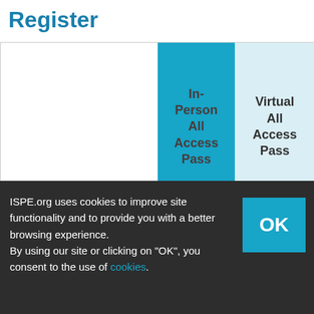Register
|  | In-Person All Access Pass | Virtual All Access Pass | Virtual Essentials Pass | FREE ISPE Members |
| --- | --- | --- | --- | --- |
| Pre-Conference |  |  |  |  |
ISPE.org uses cookies to improve site functionality and to provide you with a better browsing experience.
By using our site or clicking on "OK", you consent to the use of cookies.